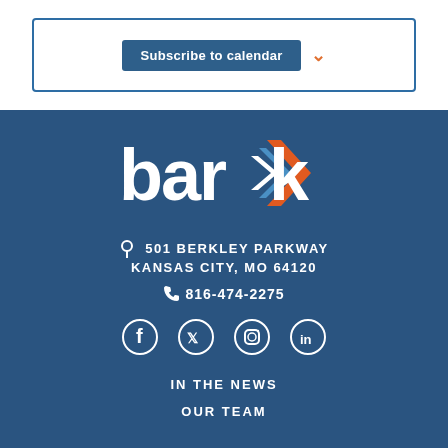[Figure (screenshot): Subscribe to calendar button with dropdown arrow inside a bordered box]
[Figure (logo): BARK logo in white letters with double chevron arrows in blue, white, and orange on dark blue background]
501 BERKLEY PARKWAY
KANSAS CITY, MO 64120
816-474-2275
[Figure (infographic): Social media icons: Facebook, Twitter, Instagram, LinkedIn in white on dark blue background]
IN THE NEWS
OUR TEAM